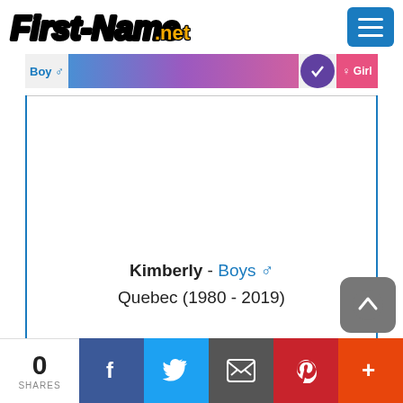First-Name.net
[Figure (screenshot): Gender bar showing Boys and Girls distribution with gradient bar]
Kimberly - Boys ♂
Quebec (1980 - 2019)
0 SHARES | Facebook | Twitter | Email | Pinterest | More